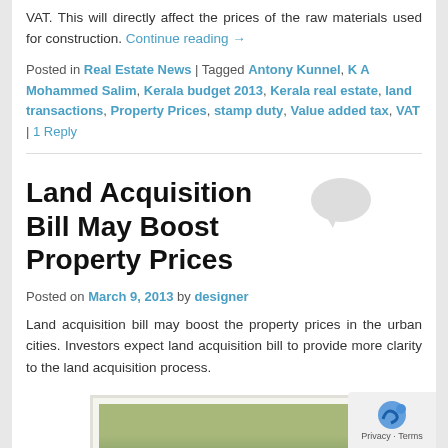VAT. This will directly affect the prices of the raw materials used for construction. Continue reading →
Posted in Real Estate News | Tagged Antony Kunnel, K A Mohammed Salim, Kerala budget 2013, Kerala real estate, land transactions, Property Prices, stamp duty, Value added tax, VAT | 1 Reply
Land Acquisition Bill May Boost Property Prices
Posted on March 9, 2013 by designer
Land acquisition bill may boost the property prices in the urban cities. Investors expect land acquisition bill to provide more clarity to the land acquisition process.
[Figure (photo): Aerial or landscape view of urban/suburban area with buildings and green trees]